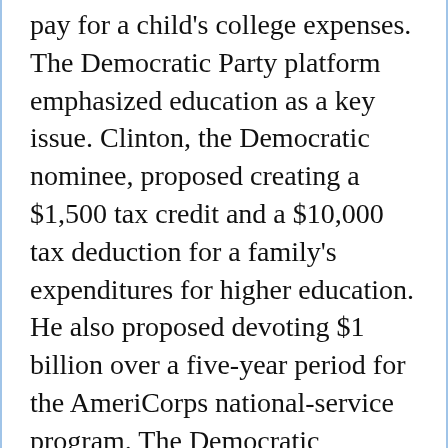pay for a child's college expenses. The Democratic Party platform emphasized education as a key issue. Clinton, the Democratic nominee, proposed creating a $1,500 tax credit and a $10,000 tax deduction for a family's expenditures for higher education. He also proposed devoting $1 billion over a five-year period for the AmeriCorps national-service program. The Democratic platform also endorsed, in contrast to the Republican, continued federal funding for the arts and the humanities. In the U.S. the "cultural wars," the decade-long debates over multiculturalism in the curriculum, continued. The debates focused on whether the curriculum should